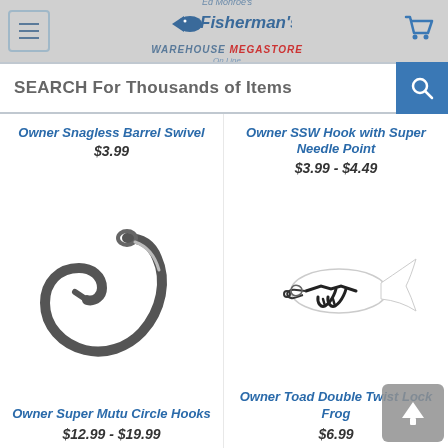Fisherman's Warehouse Megastore Online
SEARCH For Thousands of Items
Owner Snagless Barrel Swivel
$3.99
Owner SSW Hook with Super Needle Point
$3.99 - $4.49
[Figure (photo): Owner Super Mutu Circle Hooks - large circle fishing hook, black/silver finish]
Owner Super Mutu Circle Hooks
$12.99 - $19.99
[Figure (photo): Owner Toad Double Twist Lock Frog - fishing lure with double hooks and white soft body]
Owner Toad Double Twist Lock Frog
$6.99